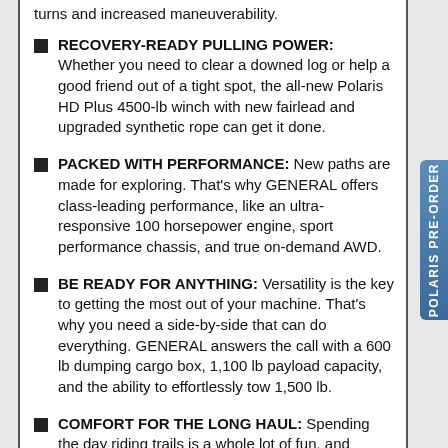RECOVERY-READY PULLING POWER: Whether you need to clear a downed log or help a good friend out of a tight spot, the all-new Polaris HD Plus 4500-lb winch with new fairlead and upgraded synthetic rope can get it done.
PACKED WITH PERFORMANCE: New paths are made for exploring. That's why GENERAL offers class-leading performance, like an ultra-responsive 100 horsepower engine, sport performance chassis, and true on-demand AWD.
BE READY FOR ANYTHING: Versatility is the key to getting the most out of your machine. That's why you need a side-by-side that can do everything. GENERAL answers the call with a 600 lb dumping cargo box, 1,100 lb payload capacity, and the ability to effortlessly tow 1,500 lb.
COMFORT FOR THE LONG HAUL: Spending the day riding trails is a whole lot of fun, and GENERAL offers the most comfortable ride of any adventure side-by-side so you arrive at your destination ready for